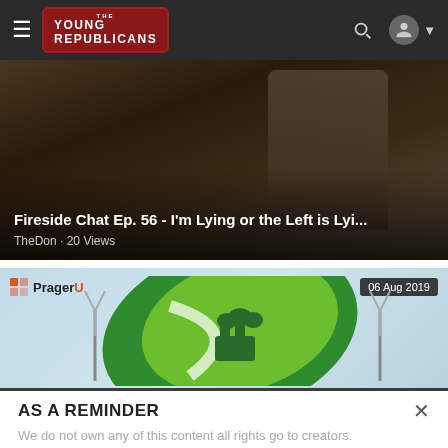The Young Republicans – navigation bar
[Figure (screenshot): Video thumbnail: Fireside Chat Ep. 56 - I'm Lying or the Left is Lyi... – man in suit with cigar, dark background]
Fireside Chat Ep. 56 - I'm Lying or the Left is Lyi...
TheDon · 20 Views
[Figure (screenshot): PragerU video thumbnail dated 06 Aug 2019 showing leaf with wind turbines and factory/cloud graphic]
AS A REMINDER
We do not own any of this content all rights go to creators.